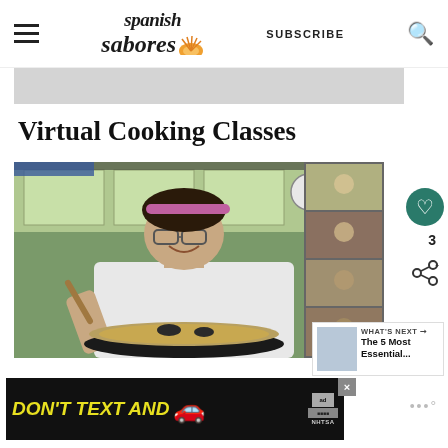Spanish Sabores — SUBSCRIBE
[Figure (photo): Gray banner/advertisement image at top]
Virtual Cooking Classes
[Figure (photo): Chef woman in white coat holding a large pan with paella, virtual cooking class screenshot with sidebar thumbnails of students]
3
[Figure (photo): What's Next thumbnail — The 5 Most Essential...]
[Figure (photo): Advertisement banner: DON'T TEXT AND [car icon] — NHTSA ad with close button]